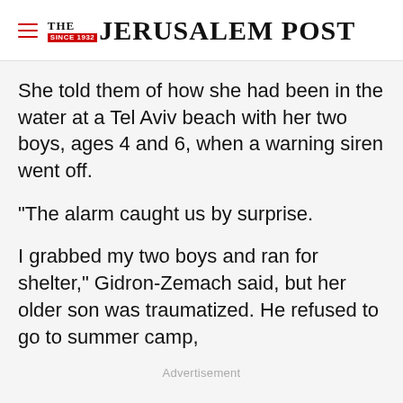THE JERUSALEM POST
She told them of how she had been in the water at a Tel Aviv beach with her two boys, ages 4 and 6, when a warning siren went off.
“The alarm caught us by surprise.
I grabbed my two boys and ran for shelter,” Gidron-Zemach said, but her older son was traumatized. He refused to go to summer camp,
Advertisement